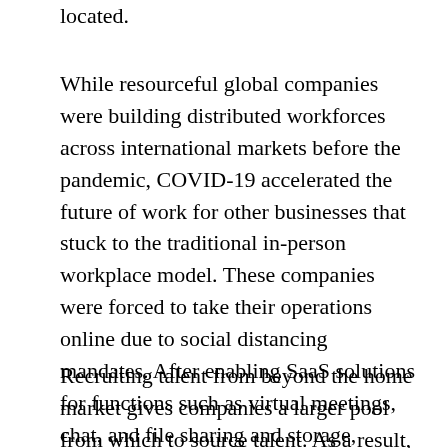located.
While resourceful global companies were building distributed workforces across international markets before the pandemic, COVID-19 accelerated the future of work for other businesses that stuck to the traditional in-person workplace model. These companies were forced to take their operations online due to social distancing mandates. After enabling SaaS solutions for functions such as virtual meetings, chat, and file sharing and storage, companies were primed to plug in talent from anywhere across the globe.
Recruiting talent from beyond the home market gives companies a larger pool from which to source talent. As a result, they can hone in on the specific skills they need and